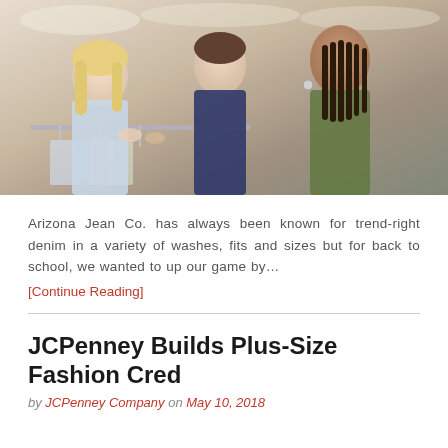[Figure (photo): Three young women browsing clothing on hangers in a retail store, smiling and looking at clothes together.]
Arizona Jean Co. has always been known for trend-right denim in a variety of washes, fits and sizes but for back to school, we wanted to up our game by... [Continue Reading]
JCPenney Builds Plus-Size Fashion Cred
by JCPenney Company on May 10, 2018